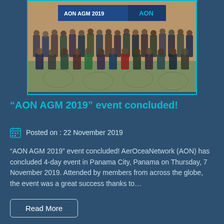[Figure (photo): Group photo of AON AGM 2019 attendees in a formal setting with an AON banner in the background, approximately 50-60 people arranged in rows]
“AON AGM 2019” event concluded!
Posted on : 22 November 2019
“AON AGM 2019” event concluded! AerOceaNetwork (AON) has concluded 4-day event in Panama City, Panama on Thursday, 7 November 2019. Attended by members from across the globe, the event was a great success thanks to…
Read More